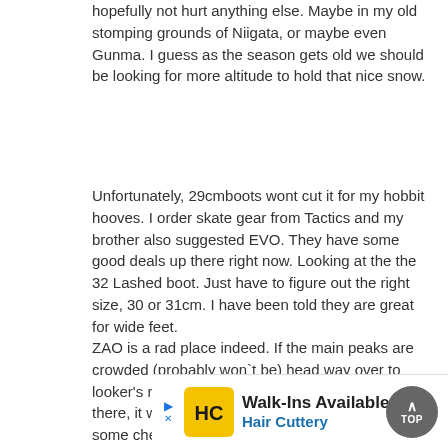hopefully not hurt anything else. Maybe in my old stomping grounds of Niigata, or maybe even Gunma. I guess as the season gets old we should be looking for more altitude to hold that nice snow.
Unfortunately, 29cmboots wont cut it for my hobbit hooves. I order skate gear from Tactics and my brother also suggested EVO. They have some good deals up there right now. Looking at the the 32 Lashed boot. Just have to figure out the right size, 30 or 31cm. I have been told they are great for wide feet.
ZAO is a rad place indeed. If the main peaks are crowded (probably won`t be) head way over to looker's right to the "Kurohime" area. WHen I was there, it was deserted, had heaps of walls and some cheeky side piste action. The snow monsters are pretty cool, but due to traffic unless you are there early after a good dump the slopes around there will be all scraped out. They also have some light up thing at night that you can access from the Gondola if I reme...
[Figure (other): Advertisement banner for Hair Cuttery showing Walk-Ins Available text with HC logo and navigation arrow icon]